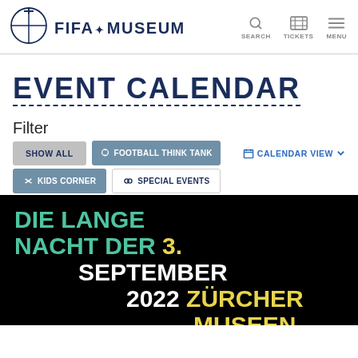[Figure (logo): FIFA Museum logo with globe icon and text]
SEARCH   TICKETS   MENU
EVENT CALENDAR
Filter
SHOW ALL   FOOTBALL THINK TANK   CALENDAR VIEW
KIDS CORNER   SPECIAL EVENTS
[Figure (photo): Event promotional image on black background with text: DIE LANGE NACHT DER 3. SEPTEMBER 2022 ZÜRCHER MUSEEN]